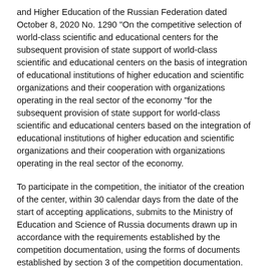and Higher Education of the Russian Federation dated October 8, 2020 No. 1290 "On the competitive selection of world-class scientific and educational centers for the subsequent provision of state support of world-class scientific and educational centers on the basis of integration of educational institutions of higher education and scientific organizations and their cooperation with organizations operating in the real sector of the economy "for the subsequent provision of state support for world-class scientific and educational centers based on the integration of educational institutions of higher education and scientific organizations and their cooperation with organizations operating in the real sector of the economy.
To participate in the competition, the initiator of the creation of the center, within 30 calendar days from the date of the start of accepting applications, submits to the Ministry of Education and Science of Russia documents drawn up in accordance with the requirements established by the competition documentation, using the forms of documents established by section 3 of the competition documentation.
The start and end dates for accepting applications for participation in the competition and documents attached to applications: from 9:00 Moscow time on April 28, 2021 to 18:00 Moscow time on May